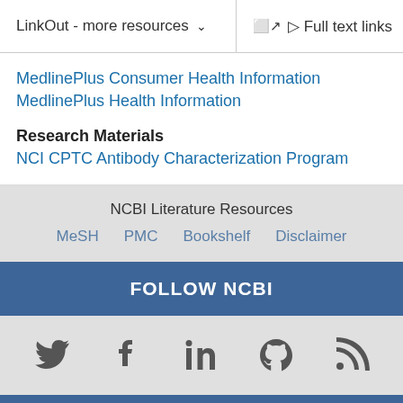LinkOut - more resources  Full text links
MedlinePlus Consumer Health Information
MedlinePlus Health Information
Research Materials
NCI CPTC Antibody Characterization Program
NCBI Literature Resources
MeSH  PMC  Bookshelf  Disclaimer
FOLLOW NCBI
[Figure (infographic): Social media icons: Twitter, Facebook, LinkedIn, GitHub, RSS feed]
Connect with NLM